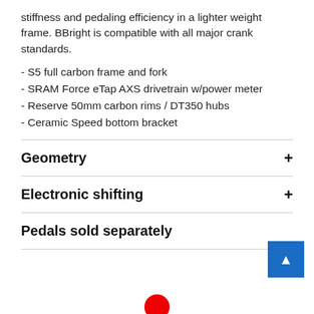stiffness and pedaling efficiency in a lighter weight frame. BBright is compatible with all major crank standards.
- S5 full carbon frame and fork
- SRAM Force eTap AXS drivetrain w/power meter
- Reserve 50mm carbon rims / DT350 hubs
- Ceramic Speed bottom bracket
Geometry
Electronic shifting
Pedals sold separately